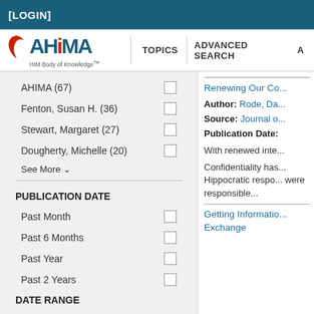[LOGIN]
[Figure (logo): AHIMA HIM Body of Knowledge logo with navigation bar showing TOPICS and ADVANCED SEARCH]
AHIMA (67)
Fenton, Susan H. (36)
Stewart, Margaret (27)
Dougherty, Michelle (20)
See More ∨
PUBLICATION DATE
Past Month
Past 6 Months
Past Year
Past 2 Years
DATE RANGE
From        To
Renewing Our Co...
Author: Rode, Da...
Source: Journal o...
Publication Date:
With renewed inte...
Confidentiality has... Hippocratic respo... were responsible...
Getting Information... Exchange